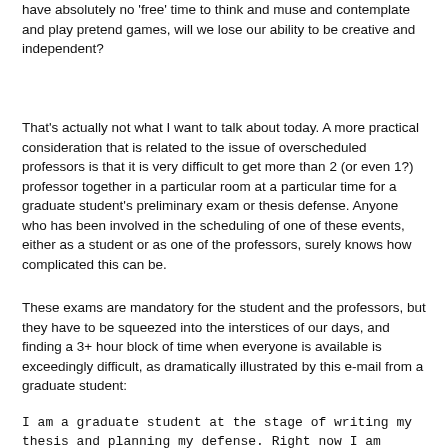have absolutely no 'free' time to think and muse and contemplate and play pretend games, will we lose our ability to be creative and independent?
That's actually not what I want to talk about today. A more practical consideration that is related to the issue of overscheduled professors is that it is very difficult to get more than 2 (or even 1?) professor together in a particular room at a particular time for a graduate student's preliminary exam or thesis defense. Anyone who has been involved in the scheduling of one of these events, either as a student or as one of the professors, surely knows how complicated this can be.
These exams are mandatory for the student and the professors, but they have to be squeezed into the interstices of our days, and finding a 3+ hour block of time when everyone is available is exceedingly difficult, as dramatically illustrated by this e-mail from a graduate student:
I am a graduate student at the stage of writing my thesis and planning my defense. Right now I am having